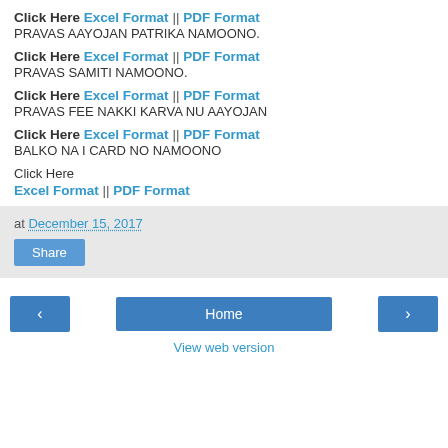Click Here Excel Format || PDF Format
PRAVAS AAYOJAN PATRIKA NAMOONO.
Click Here Excel Format || PDF Format
PRAVAS SAMITI NAMOONO.
Click Here Excel Format || PDF Format
PRAVAS FEE NAKKI KARVA NU AAYOJAN
Click Here Excel Format || PDF Format
BALKO NA I CARD NO NAMOONO
Click Here
Excel Format || PDF Format
at December 15, 2017
Share
< Home >
View web version